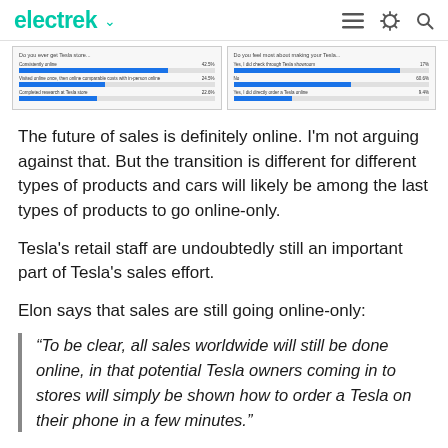electrek
[Figure (screenshot): Two survey result bar charts showing consumer responses about Tesla shopping experiences]
The future of sales is definitely online. I'm not arguing against that. But the transition is different for different types of products and cars will likely be among the last types of products to go online-only.
Tesla's retail staff are undoubtedly still an important part of Tesla's sales effort.
Elon says that sales are still going online-only:
“To be clear, all sales worldwide will still be done online, in that potential Tesla owners coming in to stores will simply be shown how to order a Tesla on their phone in a few minutes.”